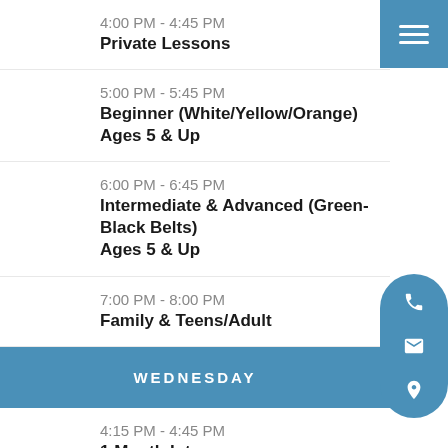4:00 PM - 4:45 PM
Private Lessons
5:00 PM - 5:45 PM
Beginner (White/Yellow/Orange) Ages 5 & Up
6:00 PM - 6:45 PM
Intermediate & Advanced (Green-Black Belts) Ages 5 & Up
7:00 PM - 8:00 PM
Family & Teens/Adult
WEDNESDAY
4:15 PM - 4:45 PM
1 Month Intro
5:00 PM - 5:45 PM
Intermediate & Advanced (Green-Black Belts) Ages 5 & Up
6:00 PM - 6:45 PM